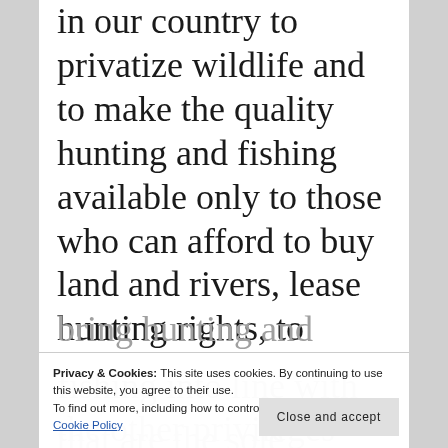in our country to privatize wildlife and to make the quality hunting and fishing available only to those who can afford to buy land and rivers, lease hunting rights, to bring hunting and fishing into line with the other privileges that are the sole
Privacy & Cookies: This site uses cookies. By continuing to use this website, you agree to their use. To find out more, including how to control cookies, see here: Cookie Policy